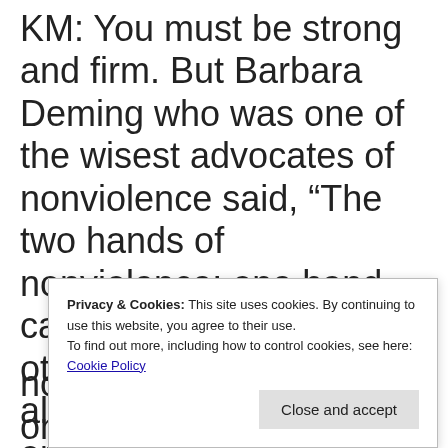KM: You must be strong and firm. But Barbara Deming who was one of the wisest advocates of nonviolence said, “The two hands of nonviolence: one hand calming them, and the other one moving them along.” In other words, one hand pushing them, and the other
nonviolence—it’s based on the
Privacy & Cookies: This site uses cookies. By continuing to use this website, you agree to their use.
To find out more, including how to control cookies, see here: Cookie Policy
Close and accept